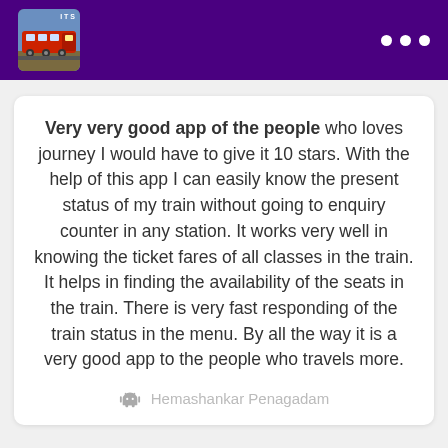ITS (app header with train icon and three dots menu)
Very very good app of the people who loves journey I would have to give it 10 stars. With the help of this app I can easily know the present status of my train without going to enquiry counter in any station. It works very well in knowing the ticket fares of all classes in the train. It helps in finding the availability of the seats in the train. There is very fast responding of the train status in the menu. By all the way it is a very good app to the people who travels more.
Hemashankar Penagadam